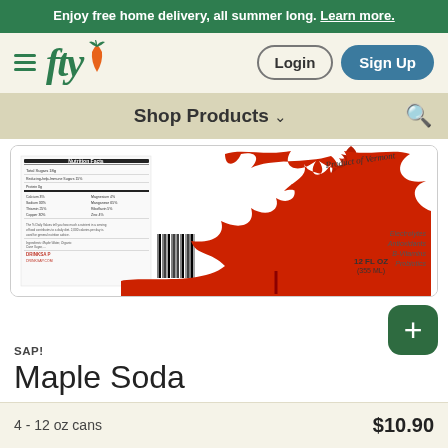Enjoy free home delivery, all summer long. Learn more.
[Figure (screenshot): Website navigation bar with hamburger menu, fty logo with carrot icon, Login and Sign Up buttons]
Shop Products ∨
[Figure (photo): SAP! Maple Soda can label showing a red maple leaf, nutrition facts, 12 FL OZ (355 ML), Product of Vermont, Electrolytes Antioxidants B-Vitamins Probiotics]
SAP!
Maple Soda
4 - 12 oz cans   $10.90